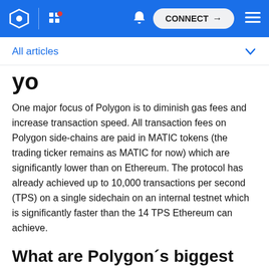CONNECT
All articles
One major focus of Polygon is to diminish gas fees and increase transaction speed. All transaction fees on Polygon side-chains are paid in MATIC tokens (the trading ticker remains as MATIC for now) which are significantly lower than on Ethereum. The protocol has already achieved up to 10,000 transactions per second (TPS) on a single sidechain on an internal testnet which is significantly faster than the 14 TPS Ethereum can achieve.
What are Polygon´s biggest